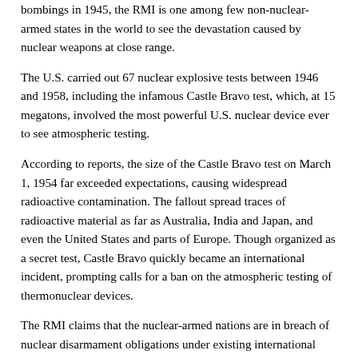bombings in 1945, the RMI is one among few non-nuclear-armed states in the world to see the devastation caused by nuclear weapons at close range.
The U.S. carried out 67 nuclear explosive tests between 1946 and 1958, including the infamous Castle Bravo test, which, at 15 megatons, involved the most powerful U.S. nuclear device ever to see atmospheric testing.
According to reports, the size of the Castle Bravo test on March 1, 1954 far exceeded expectations, causing widespread radioactive contamination. The fallout spread traces of radioactive material as far as Australia, India and Japan, and even the United States and parts of Europe. Though organized as a secret test, Castle Bravo quickly became an international incident, prompting calls for a ban on the atmospheric testing of thermonuclear devices.
The RMI claims that the nuclear-armed nations are in breach of nuclear disarmament obligations under existing international law. This applies to the P5 (permanent members of the UN Security Council: U.S., Russia, UK, France and China) that are signatories to the nuclear Non-Proliferation Treaty (NPT) as well as to the four non-NPT signatories (Israel, India, Pakistan and North Korea)